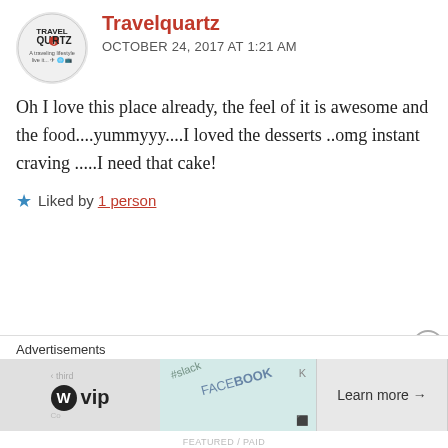Travelquartz
OCTOBER 24, 2017 AT 1:21 AM
Oh I love this place already, the feel of it is awesome and the food....yummyyy....I loved the desserts ..omg instant craving .....I need that cake!
★ Liked by 1 person
Lyf&Spice
OCTOBER 23, 2017 AT 9:29 PM
tt t     t   t    t   t   t   😘
Advertisements
[Figure (logo): WordPress VIP advertisement with logo and Learn more button]